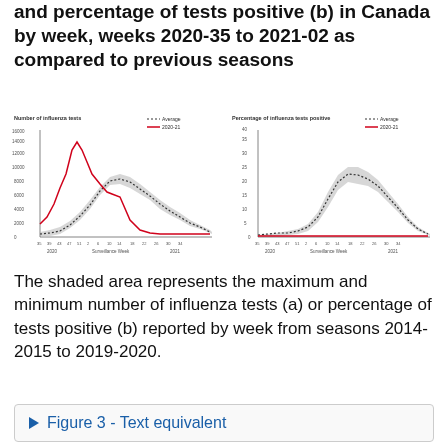and percentage of tests positive (b) in Canada by week, weeks 2020-35 to 2021-02 as compared to previous seasons
[Figure (continuous-plot): Two line/area charts side by side. Left chart: Number of influenza tests by surveillance week (weeks 35 2020 to 34 2021), showing grey shaded area for historical min/max range, dotted average line, and red 2020-21 line peaking around week 47-51 at ~18000 then dropping near zero. Right chart: Percentage of influenza tests positive by surveillance week, same structure, red 2020-21 line near zero throughout, grey shaded area and dotted average peaking around weeks 6-10 at ~25-30%.]
The shaded area represents the maximum and minimum number of influenza tests (a) or percentage of tests positive (b) reported by week from seasons 2014-2015 to 2019-2020.
Figure 3 - Text equivalent